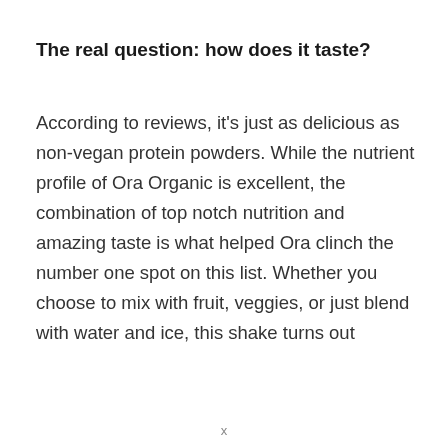The real question: how does it taste?
According to reviews, it’s just as delicious as non-vegan protein powders. While the nutrient profile of Ora Organic is excellent, the combination of top notch nutrition and amazing taste is what helped Ora clinch the number one spot on this list. Whether you choose to mix with fruit, veggies, or just blend with water and ice, this shake turns out
x